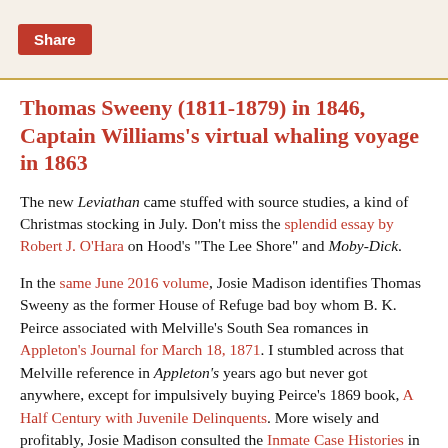Share
Thomas Sweeny (1811-1879) in 1846, Captain Williams's virtual whaling voyage in 1863
The new Leviathan came stuffed with source studies, a kind of Christmas stocking in July. Don't miss the splendid essay by Robert J. O'Hara on Hood's "The Lee Shore" and Moby-Dick.
In the same June 2016 volume, Josie Madison identifies Thomas Sweeny as the former House of Refuge bad boy whom B. K. Peirce associated with Melville's South Sea romances in Appleton's Journal for March 18, 1871. I stumbled across that Melville reference in Appleton's years ago but never got anywhere, except for impulsively buying Peirce's 1869 book, A Half Century with Juvenile Delinquents. More wisely and profitably, Josie Madison consulted the Inmate Case Histories in the New York State Archives. Fascinating cat, this Sweeny--a sort of real-life